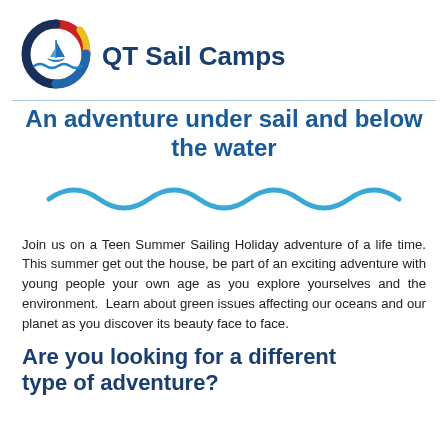[Figure (logo): QT Sail Camps circular logo with sailboat, red and dark navy arcs, yellow highlight]
QT Sail Camps
An adventure under sail and below the water
[Figure (illustration): Wavy blue wave decorative line illustration]
Join us on a Teen Summer Sailing Holiday adventure of a life time. This summer get out the house, be part of an exciting adventure with young people your own age as you explore yourselves and the environment.  Learn about green issues affecting our oceans and our planet as you discover its beauty face to face.
Are you looking for a different type of adventure?